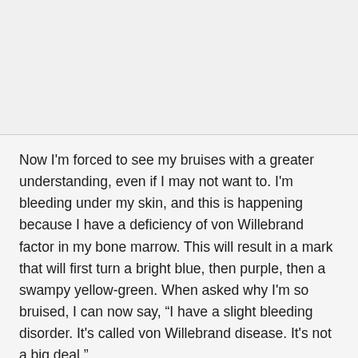[Figure (other): Blank light gray image area occupying the top portion of the page, separated by a horizontal rule]
Now I'm forced to see my bruises with a greater understanding, even if I may not want to. I'm bleeding under my skin, and this is happening because I have a deficiency of von Willebrand factor in my bone marrow. This will result in a mark that will first turn a bright blue, then purple, then a swampy yellow-green. When asked why I'm so bruised, I can now say, “I have a slight bleeding disorder. It's called von Willebrand disease. It's not a big deal.”